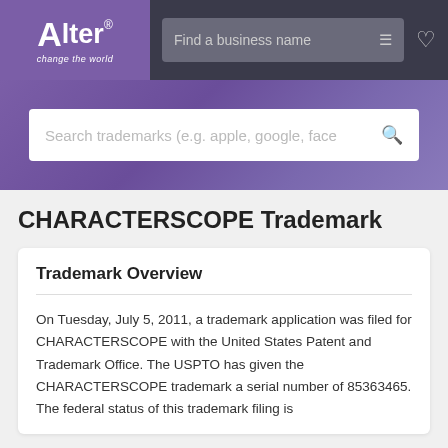[Figure (logo): Alter logo with text 'change the world' on purple background]
Find a business name
Search trademarks (e.g. apple, google, face
CHARACTERSCOPE Trademark
Trademark Overview
On Tuesday, July 5, 2011, a trademark application was filed for CHARACTERSCOPE with the United States Patent and Trademark Office. The USPTO has given the CHARACTERSCOPE trademark a serial number of 85363465. The federal status of this trademark filing is